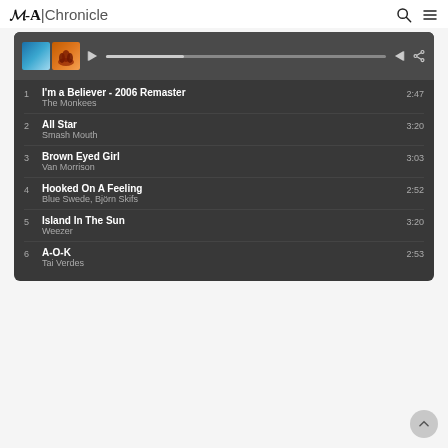M-A | Chronicle
[Figure (screenshot): Spotify music player interface showing a dark-themed playlist with album art thumbnails, playback controls, progress bar, and 6 track listings]
1  I'm a Believer - 2006 Remaster  The Monkees  2:47
2  All Star  Smash Mouth  3:20
3  Brown Eyed Girl  Van Morrison  3:03
4  Hooked On A Feeling  Blue Swede, Björn Skifs  2:52
5  Island In The Sun  Weezer  3:20
6  A-O-K  Tai Verdes  2:53